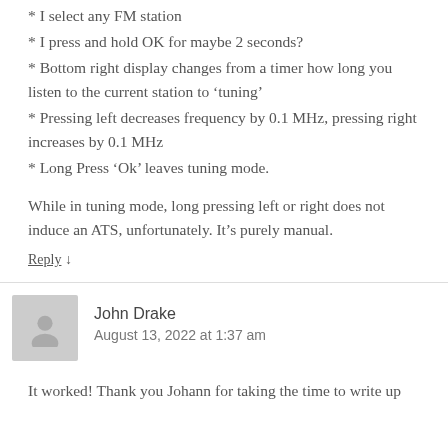* I select any FM station
* I press and hold OK for maybe 2 seconds?
* Bottom right display changes from a timer how long you listen to the current station to ‘tuning’
* Pressing left decreases frequency by 0.1 MHz, pressing right increases by 0.1 MHz
* Long Press ‘Ok’ leaves tuning mode.
While in tuning mode, long pressing left or right does not induce an ATS, unfortunately. It’s purely manual.
Reply ↓
John Drake
August 13, 2022 at 1:37 am
It worked! Thank you Johann for taking the time to write up